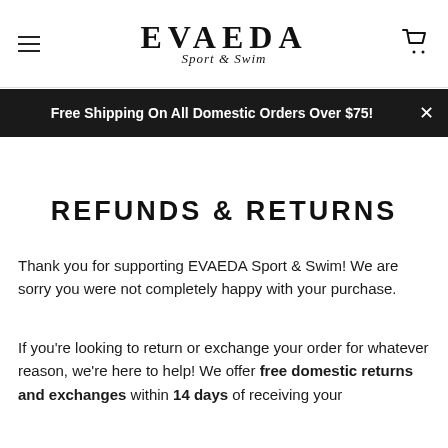EVAEDA Sport & Swim [logo with hamburger menu and cart icon]
Free Shipping On All Domestic Orders Over $75!
REFUNDS & RETURNS
Thank you for supporting EVAEDA Sport & Swim! We are sorry you were not completely happy with your purchase.
If you're looking to return or exchange your order for whatever reason, we're here to help! We offer free domestic returns and exchanges within 14 days of receiving your